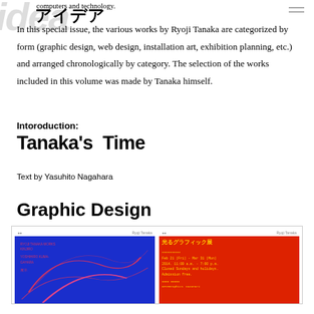idea アイデア — computers and technology.
In this special issue, the various works by Ryoji Tanaka are categorized by form (graphic design, web design, installation art, exhibition planning, etc.) and arranged chronologically by category. The selection of the works included in this volume was made by Tanaka himself.
Intoroduction:
Tanaka's Time
Text by Yasuhito Nagahara
Graphic Design
[Figure (screenshot): Two smartphone screens side by side showing graphic design works: left is a blue poster with pink abstract line art; right is a red poster with Japanese text '光るグラフィック展' and event details in yellow text.]